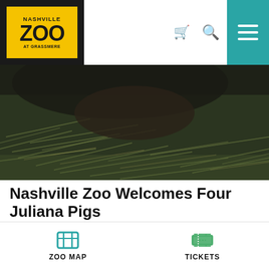Nashville Zoo at Grassmere – navigation header with logo, cart, search, and menu icons
[Figure (photo): Close-up photo of Juliana pigs in hay/straw, dark moody lighting]
Nashville Zoo Welcomes Four Juliana Pigs
Nashville Zoo is pleased to announce the arrival of four Juliana pigs ( Sus  domesticus ) to Critter Encounters. The Zoo is welcoming three females,...
READ MORE ›
ZOO MAP   TICKETS